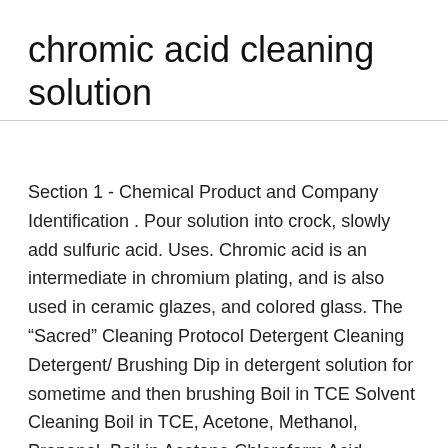chromic acid cleaning solution
Section 1 - Chemical Product and Company Identification . Pour solution into crock, slowly add sulfuric acid. Uses. Chromic acid is an intermediate in chromium plating, and is also used in ceramic glazes, and colored glass. The âSacredâ Cleaning Protocol Detergent Cleaning Detergent/ Brushing Dip in detergent solution for sometime and then brushing Boil in TCE Solvent Cleaning Boil in TCE, Acetone, Methanol, Propanol, Boil in Acetone Chloroform Acid Solution Cleaning Boil in Methanol Boil / Dip in 5-1-1 solution, Chromic Acid, HCl Alkaline Solution Cleaning Boil in 5-1-1 solution â€¦ Chromic Acid is a naturally occurring oxide